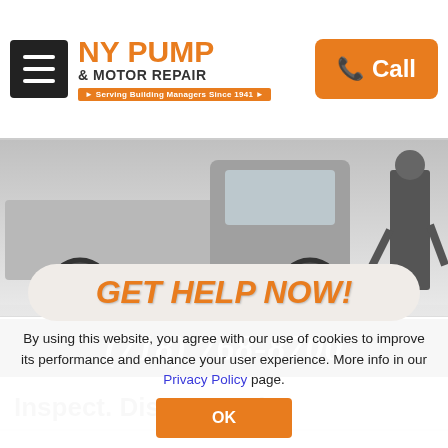[Figure (screenshot): NY Pump & Motor Repair website header with hamburger menu, orange logo, and orange Call button]
[Figure (photo): White service truck with person standing beside it, hero image for NY Pump & Motor Repair]
[Figure (screenshot): GET HELP NOW! call-to-action pill with phone number (718) 768-8700 on black background]
Inspect. Discover. Fix.
By using this website, you agree with our use of cookies to improve its performance and enhance your user experience. More info in our Privacy Policy page.